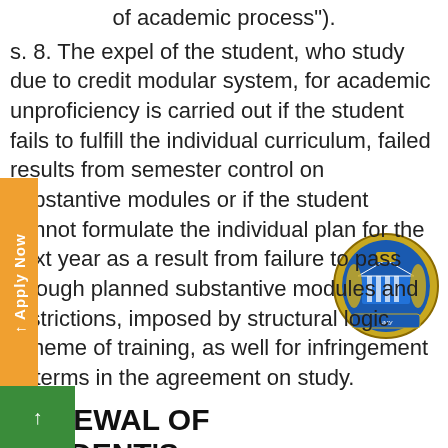of academic process").
s. 8. The expel of the student, who study due to credit modular system, for academic unproficiency is carried out if the student fails to fulfill the individual curriculum, failed results from semester control on substantive modules or if the student cannot formulate the individual plan for the next year as a result from failure to pass through planned substantive modules and restrictions, imposed by structural logic scheme of training, as well for infringement of terms in the agreement on study.
RENEWAL OF STUDENT’S EDUCATION PROCESS
Renewal of students is carried out by the rector of O.O. Bomolets NMU, regardless of the length of a break